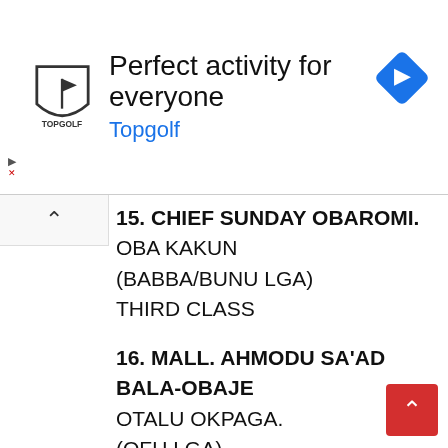[Figure (other): Topgolf advertisement banner with logo, headline 'Perfect activity for everyone', brand name 'Topgolf' in blue, and a blue navigation arrow icon on the right]
15. CHIEF SUNDAY OBAROMI.
OBA KAKUN
(BABBA/BUNU LGA)
THIRD CLASS
16. MALL. AHMODU SA'AD BALA-OBAJE
OTALU OKPAGA.
(OFU LGA)
THIRD CLASS
17. CHIEF JOHN OLUSEGUN FANIYI
OBA ITEDO AMURO.
(YAGBA EAST LGA)